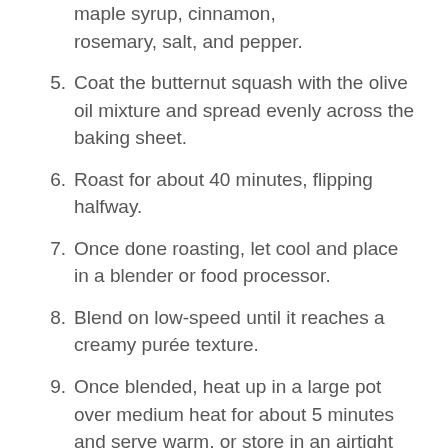maple syrup, cinnamon, rosemary, salt, and pepper.
5.  Coat the butternut squash with the olive oil mixture and spread evenly across the baking sheet.
6.  Roast for about 40 minutes, flipping halfway.
7.  Once done roasting, let cool and place in a blender or food processor.
8.  Blend on low-speed until it reaches a creamy purée texture.
9.  Once blended, heat up in a large pot over medium heat for about 5 minutes and serve warm, or store in an airtight